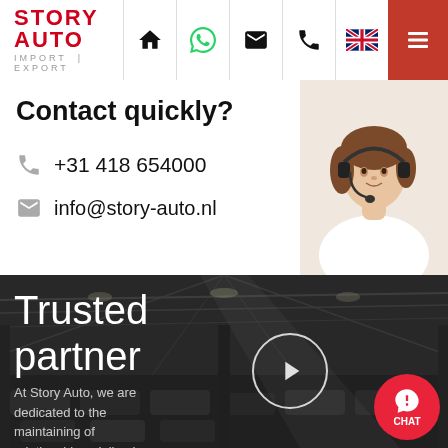[Figure (logo): Story Auto Import Export logo with red text and navigation icons including home, WhatsApp, email, phone, UK flag, and hamburger menu]
Contact quickly?
+31 418 654000
info@story-auto.nl
[Figure (photo): Woman wearing headset, customer service representative]
[Figure (photo): Warehouse interior with cars, large industrial building background. Overlay text: Trusted partner. At Story Auto, we are dedicated to the maintaining of relationships, delivering on agreements and]
Trusted partner
At Story Auto, we are dedicated to the maintaining of relationships, delivering on agreements and